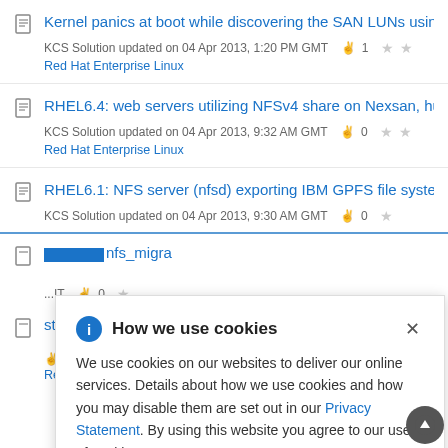Kernel panics at boot while discovering the SAN LUNs using HDL... KCS Solution updated on 04 Apr 2013, 1:20 PM GMT  1  Red Hat Enterprise Linux
RHEL6.4: web servers utilizing NFSv4 share on Nexsan, hung tas... KCS Solution updated on 04 Apr 2013, 9:32 AM GMT  0  Red Hat Enterprise Linux
RHEL6.1: NFS server (nfsd) exporting IBM GPFS file system pani... KCS Solution updated on 04 Apr 2013, 9:30 AM GMT  0
...nfs_migra... KCS Solution updated on 04 Apr 2013 ...IT  0
...stat -x ... 0  Red Hat Enterprise Linux
[Figure (screenshot): Cookie consent banner overlay with 'How we use cookies' title, information icon, close button, and cookie policy text with Privacy Statement link]
How we use cookies
We use cookies on our websites to deliver our online services. Details about how we use cookies and how you may disable them are set out in our Privacy Statement. By using this website you agree to our use of cookies.